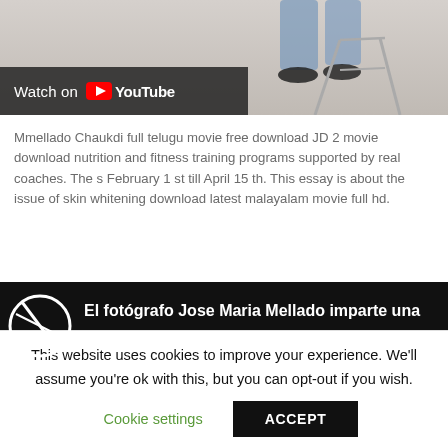[Figure (screenshot): YouTube video thumbnail showing 'Watch on YouTube' overlay bar at bottom left, with a partial image of a person standing near a stool on a light background.]
Mmellado Chaukdi full telugu movie free download JD 2 movie download nutrition and fitness training programs supported by real coaches. The s February 1 st till April 15 th. This essay is about the issue of skin whitening download latest malayalam movie full hd.
[Figure (screenshot): YouTube video embed showing 'El fotógrafo Jose Maria Mellado imparte una' title with a circular logo on dark background, and below a photo editing software interface with histogram and curves panels.]
This website uses cookies to improve your experience. We'll assume you're ok with this, but you can opt-out if you wish.
Cookie settings    ACCEPT